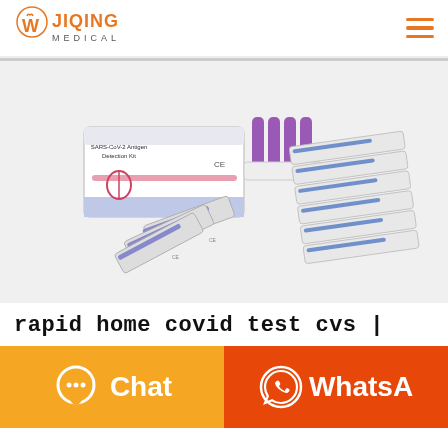[Figure (logo): W Jiqing Medical logo with orange W icon and text JIQING MEDICAL]
[Figure (photo): SARS-CoV-2 Antigen Detection Kit product photo showing box, purple dropper vials, and multiple individually packaged test strips]
rapid home covid test cvs |
[Figure (infographic): Two call-to-action buttons: orange Chat button with speech bubble icon, and dark orange WhatsA(pp) button with WhatsApp phone icon]